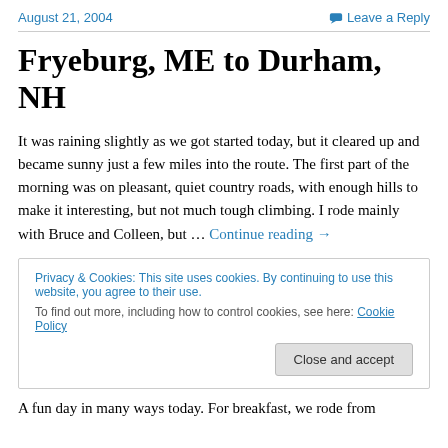August 21, 2004    Leave a Reply
Fryeburg, ME to Durham, NH
It was raining slightly as we got started today, but it cleared up and became sunny just a few miles into the route. The first part of the morning was on pleasant, quiet country roads, with enough hills to make it interesting, but not much tough climbing. I rode mainly with Bruce and Colleen, but … Continue reading →
Privacy & Cookies: This site uses cookies. By continuing to use this website, you agree to their use. To find out more, including how to control cookies, see here: Cookie Policy    Close and accept
A fun day in many ways today. For breakfast, we rode from